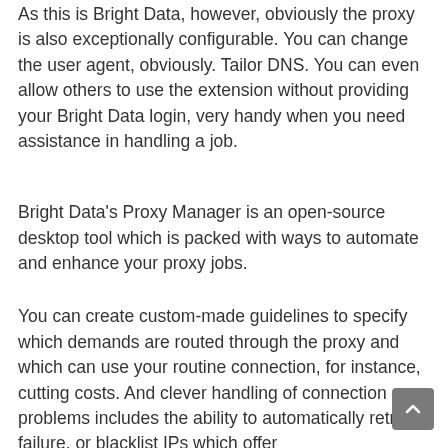As this is Bright Data, however, obviously the proxy is also exceptionally configurable. You can change the user agent, obviously. Tailor DNS. You can even allow others to use the extension without providing your Bright Data login, very handy when you need assistance in handling a job.
Bright Data's Proxy Manager is an open-source desktop tool which is packed with ways to automate and enhance your proxy jobs.
You can create custom-made guidelines to specify which demands are routed through the proxy and which can use your routine connection, for instance, cutting costs. And clever handling of connection problems includes the ability to automatically retry on failure, or blacklist IPs which offer...